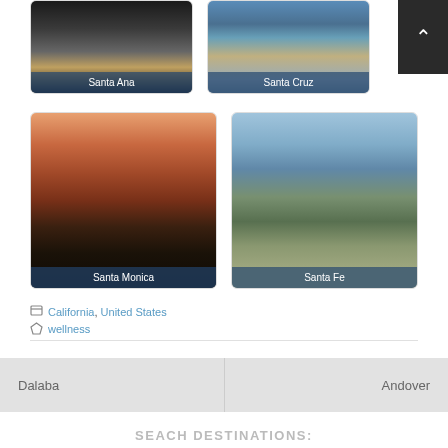[Figure (photo): Santa Ana city photo card]
[Figure (photo): Santa Cruz city photo card]
[Figure (photo): Santa Monica city photo card with palm trees at dusk]
[Figure (photo): Santa Fe aerial city photo card]
California, United States
wellness
Dalaba
Andover
SEACH DESTINATIONS: